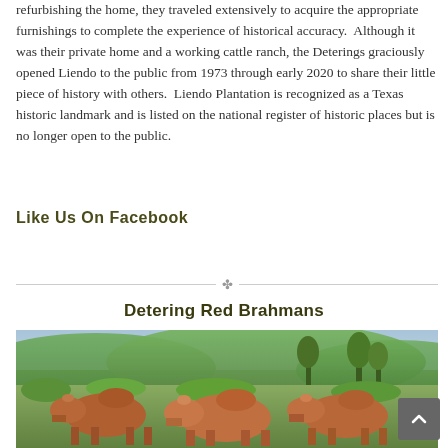refurbishing the home, they traveled extensively to acquire the appropriate furnishings to complete the experience of historical accuracy.  Although it was their private home and a working cattle ranch, the Deterings graciously opened Liendo to the public from 1973 through early 2020 to share their little piece of history with others.  Liendo Plantation is recognized as a Texas historic landmark and is listed on the national register of historic places but is no longer open to the public.
Like Us On Facebook
Detering Red Brahmans
[Figure (photo): Photograph of several red Brahman cattle standing in a green hilly pasture with trees in the background]